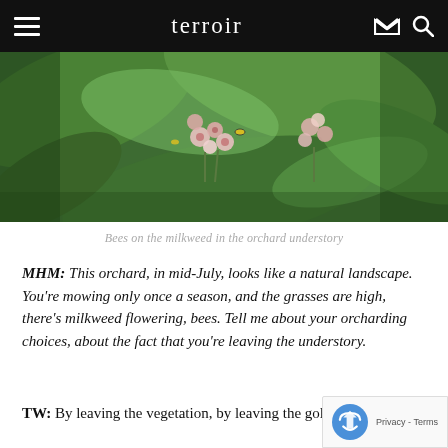terroir
[Figure (photo): Close-up photo of pink milkweed flowers with bees, surrounded by large green leaves in an orchard understory setting]
Bees on the milkweed in the orchard understory
MHM: This orchard, in mid-July, looks like a natural landscape. You're mowing only once a season, and the grasses are high, there's milkweed flowering, bees. Tell me about your orcharding choices, about the fact that you're leaving the understory.
TW: By leaving the vegetation, by leaving the gold...